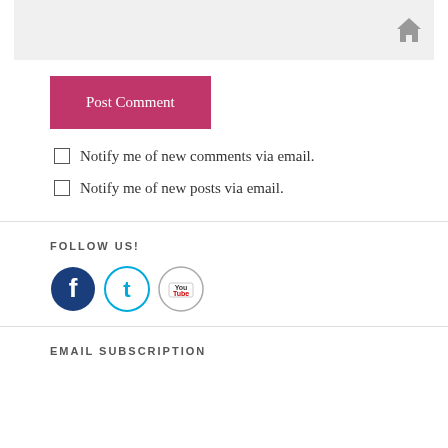[Figure (screenshot): Gray header bar with a home icon on the right]
Post Comment
Notify me of new comments via email.
Notify me of new posts via email.
FOLLOW US!
[Figure (illustration): Social media icons: Facebook, Twitter, YouTube]
EMAIL SUBSCRIPTION